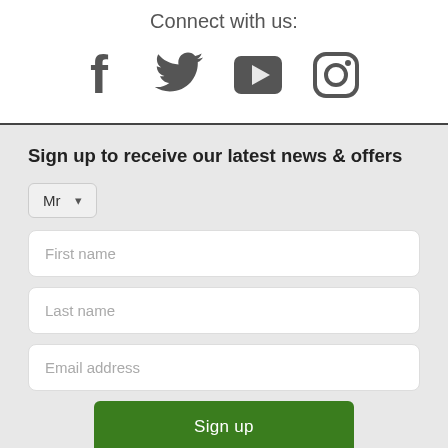Connect with us:
[Figure (illustration): Four social media icons in dark grey: Facebook (f), Twitter (bird), YouTube (play button in square), Instagram (camera outline)]
Sign up to receive our latest news & offers
[Figure (other): Form with Mr dropdown selector, First name input, Last name input, Email address input, and a green Sign up button]
Sign up here to receive marketing communication